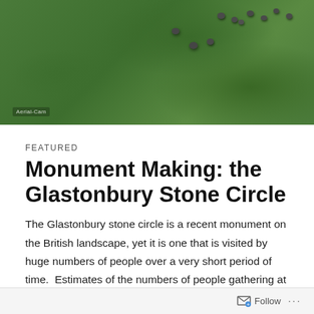[Figure (photo): Aerial view of a green grassy field with dark stones arranged in a loose circle pattern, watermark reading 'Aerial-Cam' in lower left corner]
FEATURED
Monument Making: the Glastonbury Stone Circle
The Glastonbury stone circle is a recent monument on the British landscape, yet it is one that is visited by huge numbers of people over a very short period of time.  Estimates of the numbers of people gathering at the Glastonbury stone circle are subject to speculation, however with a large proportion of the hundreds of thousands of people at festival visiting the stone circle it's
Follow